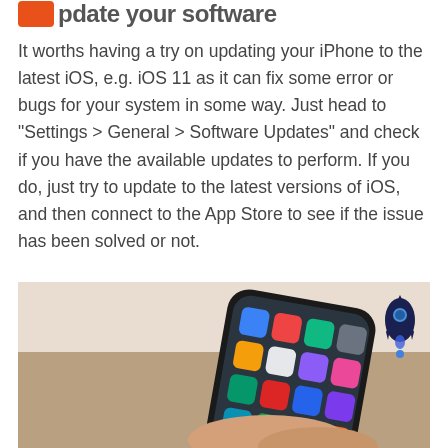Update your software
It worths having a try on updating your iPhone to the latest iOS, e.g. iOS 11 as it can fix some error or bugs for your system in some way. Just head to “Settings > General > Software Updates” and check if you have the available updates to perform. If you do, just try to update to the latest versions of iOS, and then connect to the App Store to see if the issue has been solved or not.
[Figure (photo): A hand holding an iPhone X displaying the iOS home screen with app icons, on a light brown surface background. A rocket emoji/icon appears in the top-right corner of the image.]